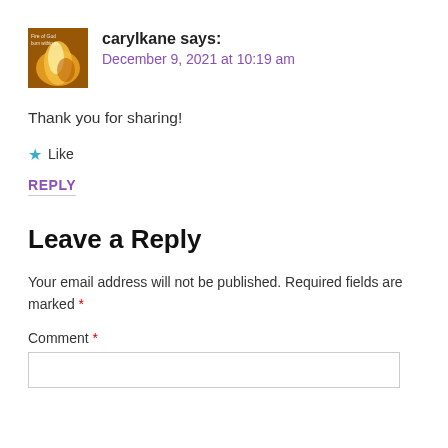[Figure (photo): Avatar image of user carylkane showing a flame/fire of God image with text overlay]
carylkane says:
December 9, 2021 at 10:19 am
Thank you for sharing!
★ Like
REPLY
Leave a Reply
Your email address will not be published. Required fields are marked *
Comment *